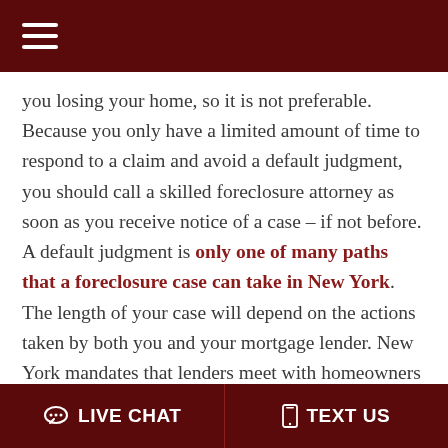≡
you losing your home, so it is not preferable. Because you only have a limited amount of time to respond to a claim and avoid a default judgment, you should call a skilled foreclosure attorney as soon as you receive notice of a case – if not before. A default judgment is only one of many paths that a foreclosure case can take in New York. The length of your case will depend on the actions taken by both you and your mortgage lender. New York mandates that lenders meet with homeowners at least twice to attempt to reach a settlement agreement. These settlement proceedings can involve mediation with a third-party mediator or negotiations between your attorneys. These
💬 LIVE CHAT   📱 TEXT US